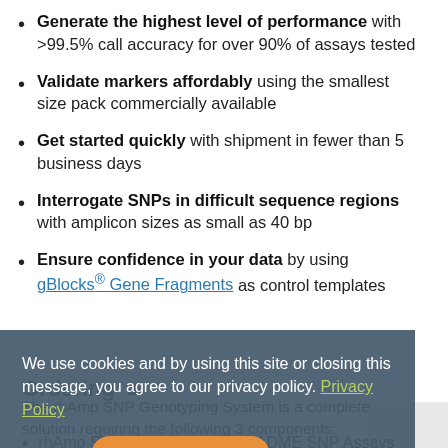Generate the highest level of performance with >99.5% call accuracy for over 90% of assays tested
Validate markers affordably using the smallest size pack commercially available
Get started quickly with shipment in fewer than 5 business days
Interrogate SNPs in difficult sequence regions with amplicon sizes as small as 40 bp
Ensure confidence in your data by using gBlocks® Gene Fragments as control templates
We use cookies and by using this site or closing this message, you agree to our privacy policy. Privacy Policy
Ordering
The rhAmp SNP Genotyping System is a complete solution requiring the following 3 components:
rhAmp SNP Assays, or rhAmp ADME SNP Assays